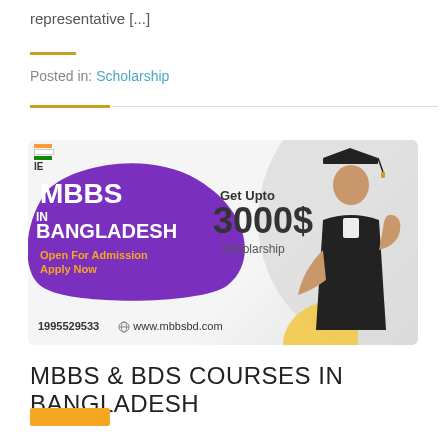representative [...]
Posted in: Scholarship
[Figure (infographic): MBBS in Bangladesh advertisement banner showing a graduate student, purple blob shape with MBBS IN BANGLADESH text, Get Upto 3000$ Scholarship offer, Open For Admission Apply Now, phone number 1995529533 and website www.mbbsbd.com]
MBBS & BDS COURSES IN BANGLADESH